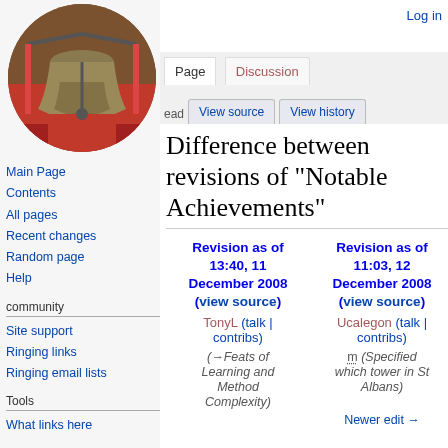[Figure (photo): Circular logo with a photo of a bell on red machinery]
Log in
Page | Discussion | View source | View history | Search
Difference between revisions of "Notable Achievements"
Main Page
Contents
All pages
Recent changes
Random page
Help
community
Site support
Ringing links
Ringing email lists
Tools
What links here
| Revision as of 13:40, 11 December 2008 (view source) | Revision as of 11:03, 12 December 2008 (view source) |
| --- | --- |
| TonyL (talk | contribs) | Ucalegon (talk | contribs) |
| (→Feats of Learning and Method Complexity) | m (Specified which tower in St Albans) |
| Newer edit → | Newer edit → |